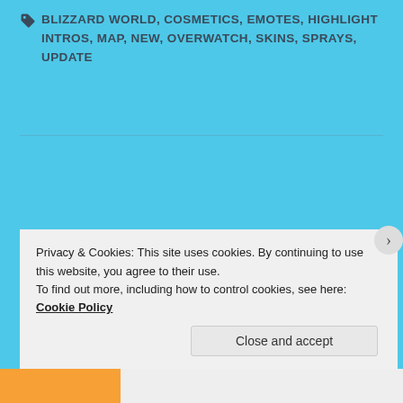BLIZZARD WORLD, COSMETICS, EMOTES, HIGHLIGHT INTROS, MAP, NEW, OVERWATCH, SKINS, SPRAYS, UPDATE
Leave a Reply
Your email address will not be published. Required fields are marked *
Comment *
Privacy & Cookies: This site uses cookies. By continuing to use this website, you agree to their use. To find out more, including how to control cookies, see here: Cookie Policy
Close and accept